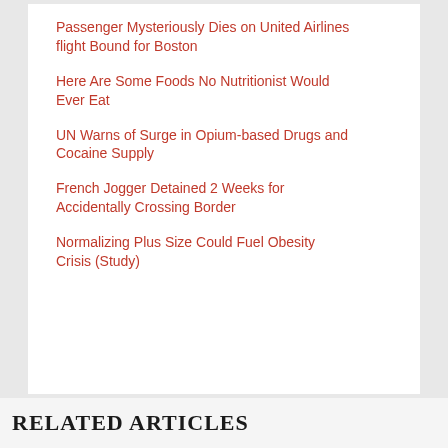Passenger Mysteriously Dies on United Airlines flight Bound for Boston
Here Are Some Foods No Nutritionist Would Ever Eat
UN Warns of Surge in Opium-based Drugs and Cocaine Supply
French Jogger Detained 2 Weeks for Accidentally Crossing Border
Normalizing Plus Size Could Fuel Obesity Crisis (Study)
RELATED ARTICLES